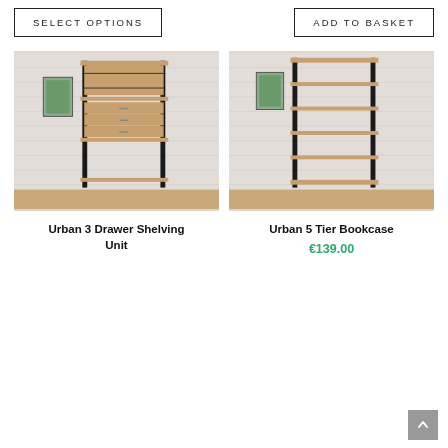SELECT OPTIONS
ADD TO BASKET
[Figure (photo): Urban 3 Drawer Shelving Unit - industrial style shelving unit with black metal frame and wooden drawers against white brick wall]
Urban 3 Drawer Shelving Unit
[Figure (photo): Urban 5 Tier Bookcase - industrial style open bookcase with black metal frame and wooden shelves against white brick wall]
Urban 5 Tier Bookcase
€139.00